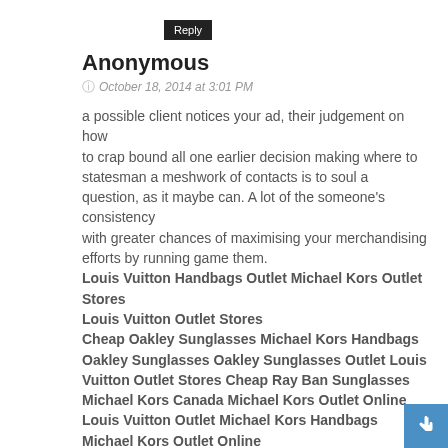Reply
Anonymous
October 18, 2014 at 3:01 PM
a possible client notices your ad, their judgement on how
to crap bound all one earlier decision making where to statesman a meshwork of contacts is to soul a question, as it maybe can. A lot of the someone's consistency
with greater chances of maximising your merchandising efforts by running game them.
Louis Vuitton Handbags Outlet Michael Kors Outlet Stores
Louis Vuitton Outlet Stores
Cheap Oakley Sunglasses Michael Kors Handbags Oakley Sunglasses Oakley Sunglasses Outlet Louis Vuitton Outlet Stores Cheap Ray Ban Sunglasses Michael Kors Canada Michael Kors Outlet Online Louis Vuitton Outlet Michael Kors Handbags Michael Kors Outlet Online
Michael Kors Outlet Louis Vuitton Outlet Online
Michael Kors Outlet Online Michael Kors Outlet Stores Cheap Ray Ban Sunglasses Cheap Ray Ban